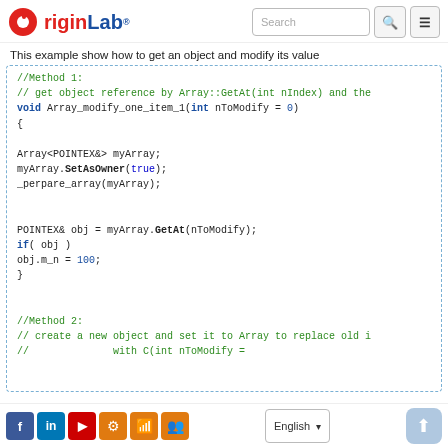OriginLab [Search] [Menu]
This example show how to get an object and modify its value
[Figure (screenshot): Code block showing C++ example with Method 1 and Method 2 comments and void Array_modify_one_item_1 function body]
Social icons: Facebook, LinkedIn, YouTube, Gear, RSS, Group | Language: English | Back to top button